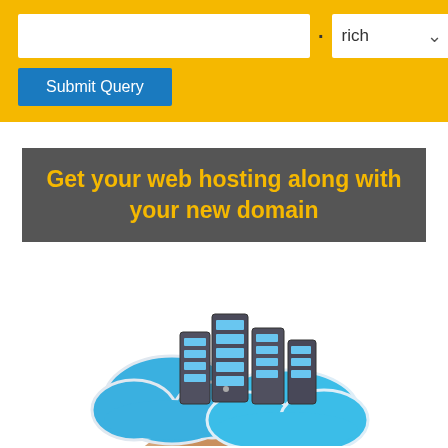[Figure (screenshot): Web form with a text input, a dot separator, a dropdown showing 'rich' with a down arrow, and a blue 'Submit Query' button, all on a yellow background]
Get your web hosting along with your new domain
[Figure (illustration): Illustration of blue clouds and server racks being held in a hand, representing cloud hosting]